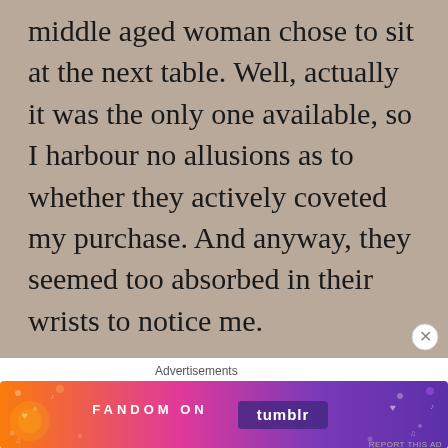middle aged woman chose to sit at the next table. Well, actually it was the only one available, so I harbour no allusions as to whether they actively coveted my purchase. And anyway, they seemed too absorbed in their wrists to notice me.
[Figure (other): Fandom on Tumblr advertisement banner with colorful gradient background (orange to purple) and white text reading FANDOM ON tumblr with decorative icons]